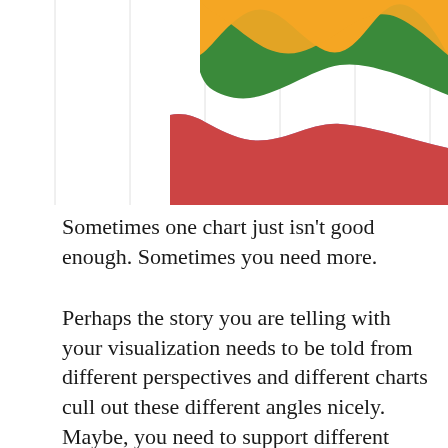[Figure (area-chart): Partial view of a stacked area chart cropped at the top of the page. Multiple colored bands (orange at top, then green, red/pink, purple, brown) form wavy stacked areas flowing horizontally. Vertical gridlines visible on a white background.]
Sometimes one chart just isn't good enough. Sometimes you need more.
Perhaps the story you are telling with your visualization needs to be told from different perspectives and different charts cull out these different angles nicely. Maybe, you need to support different types of users and different plots appeal to these separate sets. Or maybe you just want to add a bit of flare to your visualization with a chart toggle.